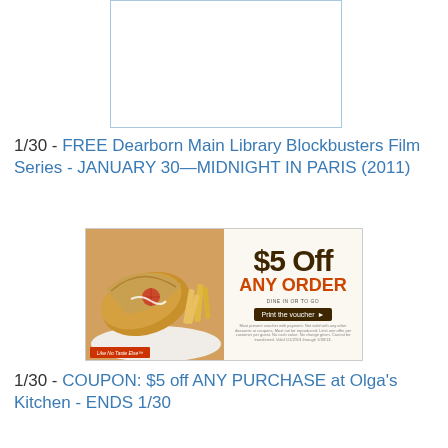[Figure (photo): Placeholder/thumbnail image box with light blue border, appears mostly white/blank]
1/30 - FREE Dearborn Main Library Blockbusters Film Series - JANUARY 30—MIDNIGHT IN PARIS (2011)
[Figure (photo): Coupon image: left side shows food photo of a pita wrap with fries, right side shows '$5 OFF ANY ORDER' text with 'DINE IN OR TO GO', a 'Print the voucher' button, and fine print. Label reads 'Like No Taste Else'.]
1/30 - COUPON: $5 off ANY PURCHASE at Olga's Kitchen - ENDS 1/30